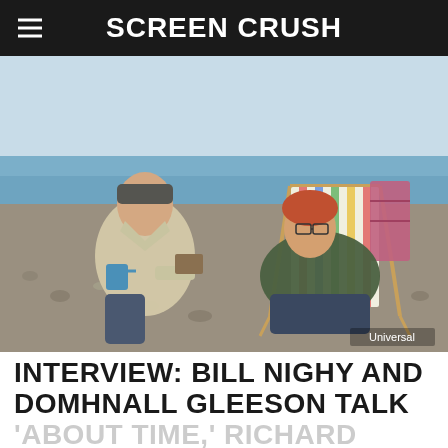SCREEN CRUSH
[Figure (photo): Two men sitting on a pebble beach. An older man on the left holds a blue mug and a book, wearing a light jacket and jeans. A younger red-haired man reclines in a striped deck chair on the right, wearing a dark green jacket. The sea and sky are visible in the background. Credit: Universal]
INTERVIEW: BILL NIGHY AND DOMHNALL GLEESON TALK 'ABOUT TIME,' RICHARD CURTIS